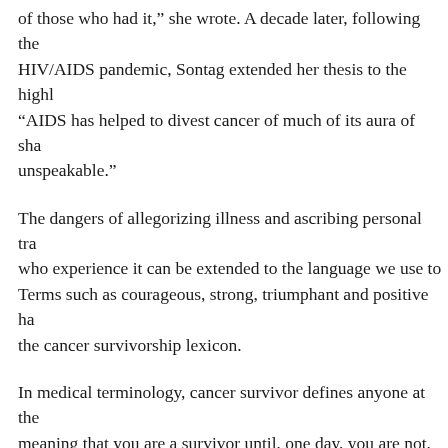of those who had it,” she wrote. A decade later, following the HIV/AIDS pandemic, Sontag extended her thesis to the highly “AIDS has helped to divest cancer of much of its aura of shame, unspeakable.”
The dangers of allegorizing illness and ascribing personal traits to who experience it can be extended to the language we use to Terms such as courageous, strong, triumphant and positive have the cancer survivorship lexicon.
In medical terminology, cancer survivor defines anyone at the meaning that you are a survivor until, one day, you are not. In imagination, a survivor is someone who is better for the journey, stronger, healthier, with the bad stuff behind them. Very particular survivorship—filtered through ideas of bravery, perseverance, to emerge in the seventies and eighties, when studies were first which argued that positive thinking made a difference on cancer